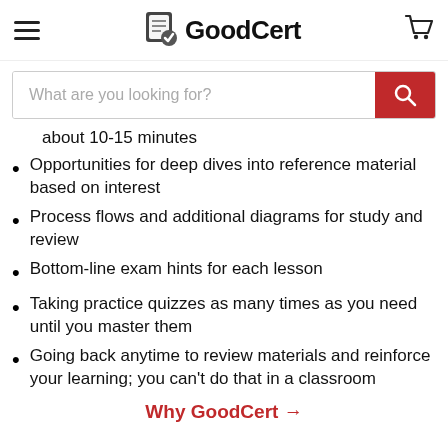GoodCert
about 10-15 minutes
Opportunities for deep dives into reference material based on interest
Process flows and additional diagrams for study and review
Bottom-line exam hints for each lesson
Taking practice quizzes as many times as you need until you master them
Going back anytime to review materials and reinforce your learning; you can't do that in a classroom
Why GoodCert →